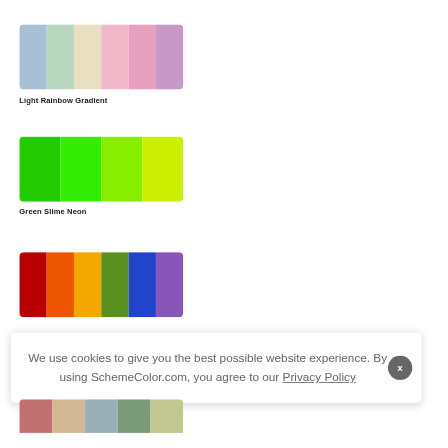[Figure (illustration): Light Rainbow Gradient color palette with 6 swatches: light steel blue, light green, beige/cream, light pink, pink, light purple]
Light Rainbow Gradient
[Figure (illustration): Green Slime Neon color palette with 4 swatches: bright green, lime green, yellow-green, yellow-chartreuse]
Green Slime Neon
[Figure (illustration): Rainbow color palette with 6 swatches: dark red, orange, amber/gold, olive green, medium blue, medium purple]
We use cookies to give you the best possible website experience. By using SchemeColor.com, you agree to our Privacy Policy
[Figure (illustration): Partial bottom palette row with multiple color swatches visible]